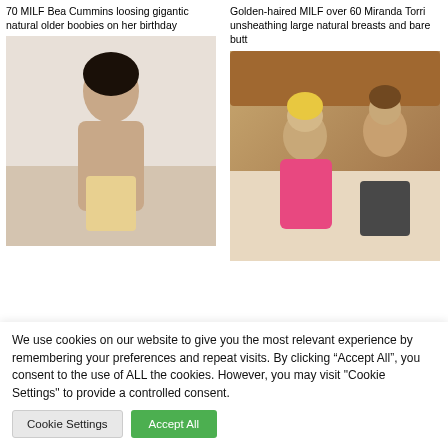70 MILF Bea Cummins loosing gigantic natural older boobies on her birthday
Golden-haired MILF over 60 Miranda Torri unsheathing large natural breasts and bare butt
[Figure (photo): Woman with dark hair posing]
[Figure (photo): Older woman in pink with younger man on bed]
We use cookies on our website to give you the most relevant experience by remembering your preferences and repeat visits. By clicking “Accept All”, you consent to the use of ALL the cookies. However, you may visit "Cookie Settings" to provide a controlled consent.